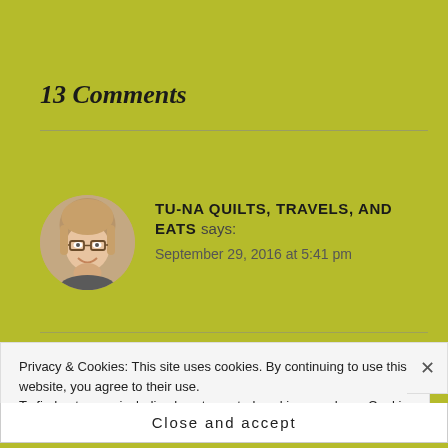13 Comments
[Figure (photo): Circular avatar photo of a woman with short blonde hair and glasses, smiling]
TU-NA QUILTS, TRAVELS, AND EATS says:
September 29, 2016 at 5:41 pm
Privacy & Cookies: This site uses cookies. By continuing to use this website, you agree to their use.
To find out more, including how to control cookies, see here: Cookie Policy
Close and accept